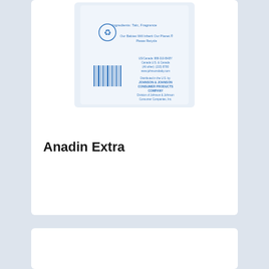[Figure (photo): Photo of the back of a Johnson & Johnson product bottle showing ingredients, recycling symbol, barcode, and contact information]
Anadin Extra